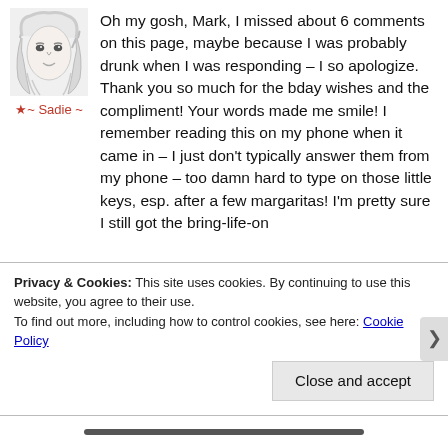[Figure (photo): Sketch-style portrait of a blonde woman used as avatar]
★~ Sadie ~
Oh my gosh, Mark, I missed about 6 comments on this page, maybe because I was probably drunk when I was responding – I so apologize. Thank you so much for the bday wishes and the compliment! Your words made me smile! I remember reading this on my phone when it came in – I just don't typically answer them from my phone – too damn hard to type on those little keys, esp. after a few margaritas! I'm pretty sure I still got the bring-life-on
Privacy & Cookies: This site uses cookies. By continuing to use this website, you agree to their use. To find out more, including how to control cookies, see here: Cookie Policy
Close and accept